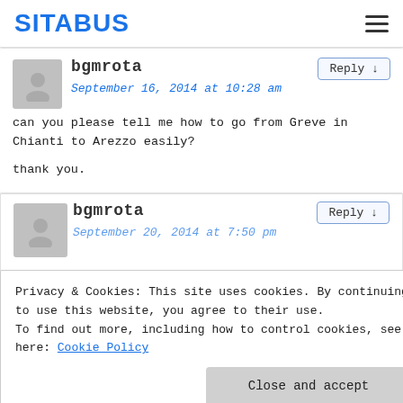SITABUS
bgmrota
September 16, 2014 at 10:28 am
can you please tell me how to go from Greve in Chianti to Arezzo easily?

thank you.
bgmrota
September 20, 2014 at 7:50 pm
Privacy & Cookies: This site uses cookies. By continuing to use this website, you agree to their use.
To find out more, including how to control cookies, see here: Cookie Policy
Close and accept
Monica